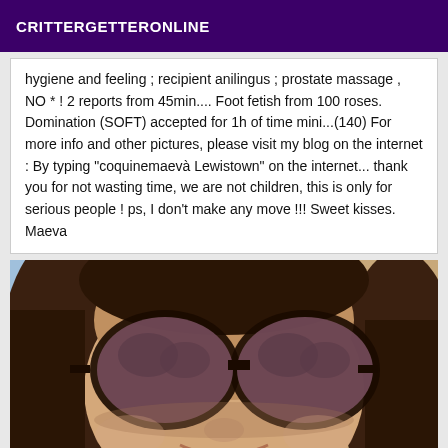CRITTERGETTERONLINE
hygiene and feeling ; recipient anilingus ; prostate massage , NO * ! 2 reports from 45min.... Foot fetish from 100 roses. Domination (SOFT) accepted for 1h of time mini...(140) For more info and other pictures, please visit my blog on the internet : By typing "coquinemaevà Lewistown" on the internet... thank you for not wasting time, we are not children, this is only for serious people ! ps, I don't make any move !!! Sweet kisses. Maeva
[Figure (photo): Close-up photo of a woman wearing large dark oversized sunglasses with brown lenses, dark brown hair, light skin, smiling slightly. Blue background visible.]